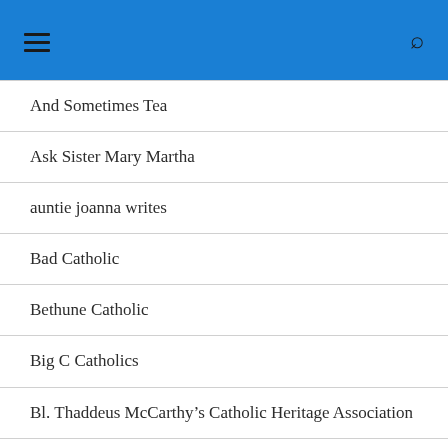And Sometimes Tea
Ask Sister Mary Martha
auntie joanna writes
Bad Catholic
Bethune Catholic
Big C Catholics
Bl. Thaddeus McCarthy's Catholic Heritage Association
Catholic and Enjoying It!
Catholic Answers Blog